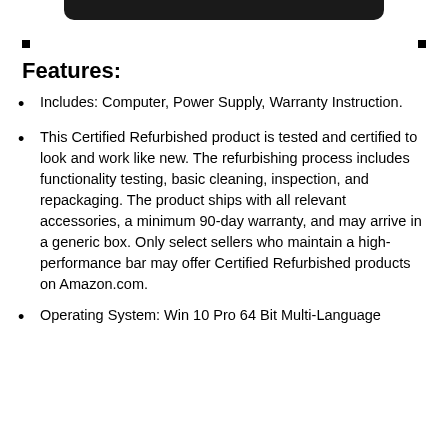[Figure (photo): Partial bottom edge of a laptop or computer device shown at the top of the page, dark color]
Features:
Includes: Computer, Power Supply, Warranty Instruction.
This Certified Refurbished product is tested and certified to look and work like new. The refurbishing process includes functionality testing, basic cleaning, inspection, and repackaging. The product ships with all relevant accessories, a minimum 90-day warranty, and may arrive in a generic box. Only select sellers who maintain a high-performance bar may offer Certified Refurbished products on Amazon.com.
Operating System: Win 10 Pro 64 Bit Multi-Language